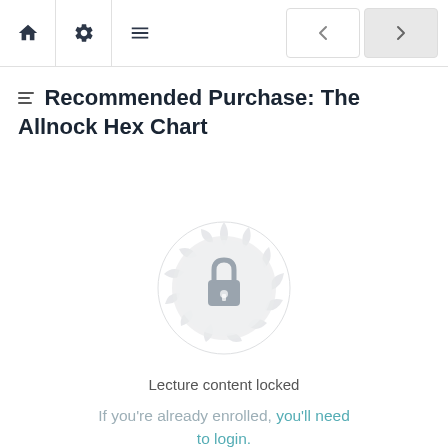Navigation bar with home, settings, menu icons and prev/next buttons
Recommended Purchase: The Allnock Hex Chart
[Figure (illustration): Decorative circular mandala/medallion badge in light grey with a padlock icon in the center, indicating locked content]
Lecture content locked
If you're already enrolled, you'll need to login.